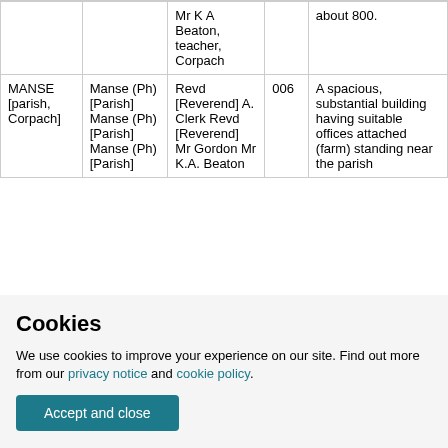|  |  | Mr K A Beaton, teacher, Corpach |  | about 800. |
| MANSE [parish, Corpach] | Manse (Ph) [Parish] Manse (Ph) [Parish] Manse (Ph) [Parish] | Revd [Reverend] A. Clerk Revd [Reverend] Mr Gordon Mr K.A. Beaton | 006 | A spacious, substantial building having suitable offices attached (farm) standing near the parish |
Cookies
We use cookies to improve your experience on our site. Find out more from our privacy notice and cookie policy.
Accept and close